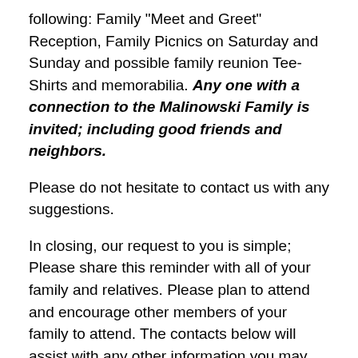following: Family "Meet and Greet" Reception, Family Picnics on Saturday and Sunday and possible family reunion Tee-Shirts and memorabilia. Any one with a connection to the Malinowski Family is invited; including good friends and neighbors.
Please do not hesitate to contact us with any suggestions.
In closing, our request to you is simple; Please share this reminder with all of your family and relatives. Please plan to attend and encourage other members of your family to attend. The contacts below will assist with any other information you may need. See you all in2020 - Kocham cię
Malinowski Family Reunion Planning Steering Committee: